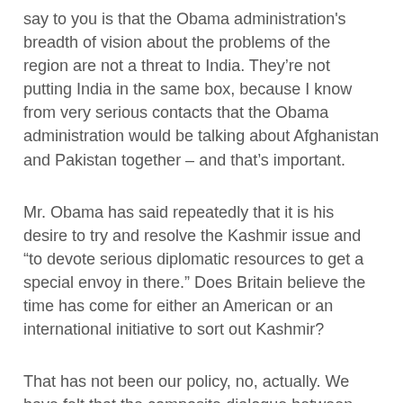say to you is that the Obama administration's breadth of vision about the problems of the region are not a threat to India. They're not putting India in the same box, because I know from very serious contacts that the Obama administration would be talking about Afghanistan and Pakistan together – and that's important.
Mr. Obama has said repeatedly that it is his desire to try and resolve the Kashmir issue and "to devote serious diplomatic resources to get a special envoy in there." Does Britain believe the time has come for either an American or an international initiative to sort out Kashmir?
That has not been our policy, no, actually. We have felt that the composite dialogue between India and Pakistan is the right way forward – it's a bilateral issue. Let us listen to President Obama, which will be in a week's time. Let us give him the space to explain what he means. I have not had the chance yet to discuss in detail what that idea might be. But our position has been that the bilateral track has been a